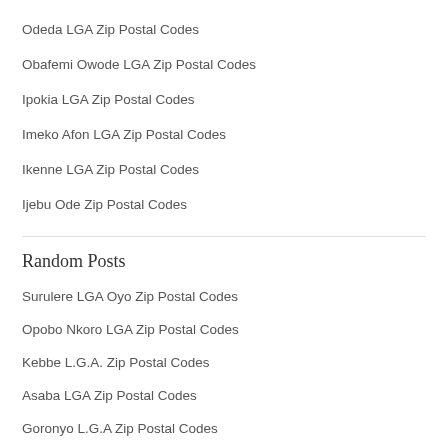Odeda LGA Zip Postal Codes
Obafemi Owode LGA Zip Postal Codes
Ipokia LGA Zip Postal Codes
Imeko Afon LGA Zip Postal Codes
Ikenne LGA Zip Postal Codes
Ijebu Ode Zip Postal Codes
Random Posts
Surulere LGA Oyo Zip Postal Codes
Opobo Nkoro LGA Zip Postal Codes
Kebbe L.G.A. Zip Postal Codes
Asaba LGA Zip Postal Codes
Goronyo L.G.A Zip Postal Codes